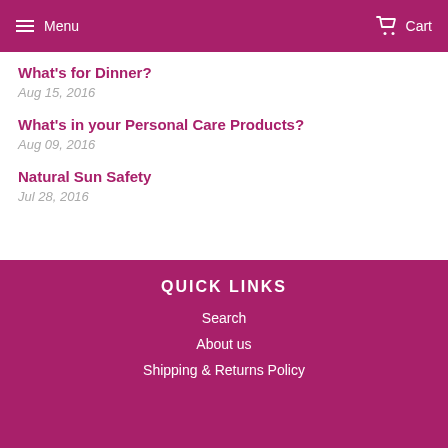Menu  Cart
What's for Dinner?
Aug 15, 2016
What's in your Personal Care Products?
Aug 09, 2016
Natural Sun Safety
Jul 28, 2016
QUICK LINKS
Search
About us
Shipping & Returns Policy